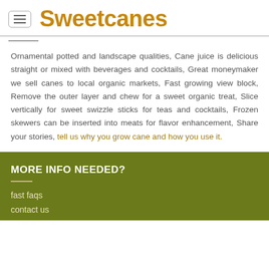Sweetcanes
Ornamental potted and landscape qualities, Cane juice is delicious straight or mixed with beverages and cocktails, Great moneymaker we sell canes to local organic markets, Fast growing view block, Remove the outer layer and chew for a sweet organic treat, Slice vertically for sweet swizzle sticks for teas and cocktails, Frozen skewers can be inserted into meats for flavor enhancement, Share your stories, tell us why you grow cane and how you use it.
MORE INFO NEEDED?
fast faqs
contact us